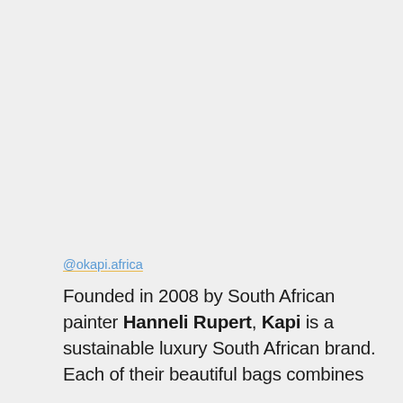@okapi.africa
Founded in 2008 by South African painter Hanneli Rupert, Kapi is a sustainable luxury South African brand. Each of their beautiful bags combines